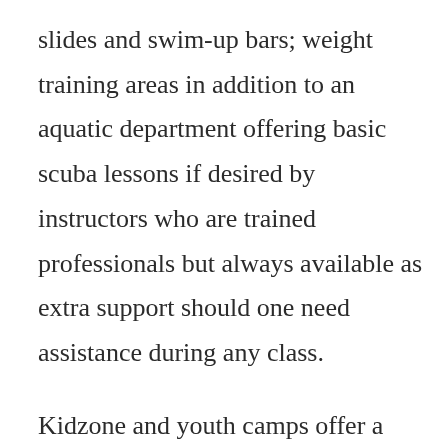slides and swim-up bars; weight training areas in addition to an aquatic department offering basic scuba lessons if desired by instructors who are trained professionals but always available as extra support should one need assistance during any class.
Kidzone and youth camps offer a safe space for young people to explore physical fitness.